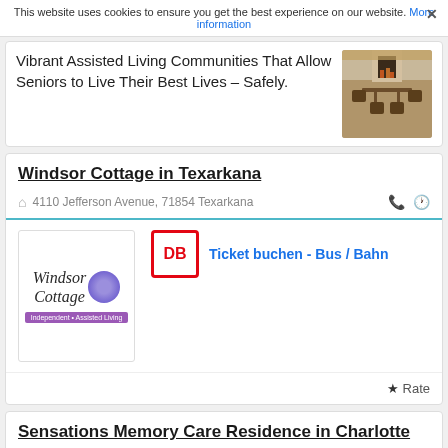This website uses cookies to ensure you get the best experience on our website. More information ×
Vibrant Assisted Living Communities That Allow Seniors to Live Their Best Lives – Safely.
[Figure (photo): Photo of an outdoor patio/dining area with chairs and table, warm lighting]
Windsor Cottage in Texarkana
4110 Jefferson Avenue, 71854 Texarkana
[Figure (logo): Windsor Cottage logo with cursive text and purple circle, subtitle 'Independent • Assisted Living']
Ticket buchen - Bus / Bahn
★ Rate
Sensations Memory Care Residence in Charlotte
511 East Shepherd Street, 48813 Charlotte